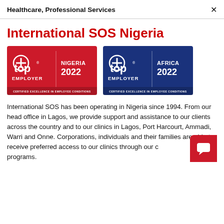Healthcare, Professional Services  ×
International SOS Nigeria
[Figure (logo): Top Employer Nigeria 2022 - Certified Excellence in Employee Conditions badge (red background)]
[Figure (logo): Top Employer Africa 2022 - Certified Excellence in Employee Conditions badge (blue background)]
International SOS has been operating in Nigeria since 1994. From our head office in Lagos, we provide support and assistance to our clients across the country and to our clinics in Lagos, Port Harcourt, Ammadi, Warri and Onne. Corporations, individuals and their families are able to receive preferred access to our clinics through our c... plan programs.